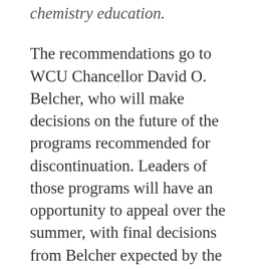chemistry education.
The recommendations go to WCU Chancellor David O. Belcher, who will make decisions on the future of the programs recommended for discontinuation. Leaders of those programs will have an opportunity to appeal over the summer, with final decisions from Belcher expected by the end of July.
Academic program prioritization is part of an overarching university initiative to closely examine all of its operations to ensure that they are functioning as effectively and efficiently as possible during a period of reduced resources from the state, said Mark